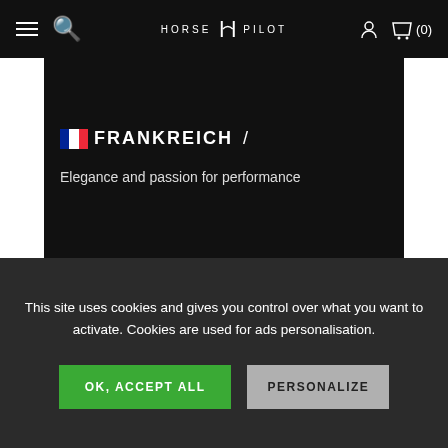HORSE PILOT (0)
🇫🇷 FRANKREICH /
Elegance and passion for performance
This site uses cookies and gives you control over what you want to activate. Cookies are used for ads personalisation.
OK, ACCEPT ALL
PERSONALIZE